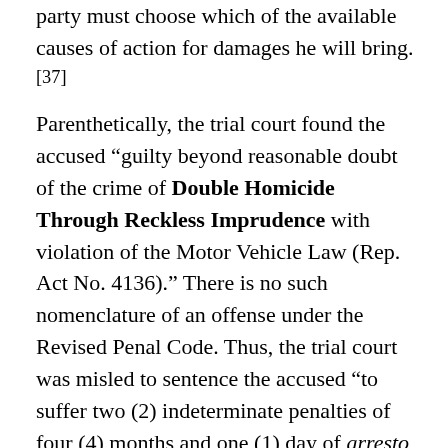party must choose which of the available causes of action for damages he will bring.[37]
Parenthetically, the trial court found the accused "guilty beyond reasonable doubt of the crime of Double Homicide Through Reckless Imprudence with violation of the Motor Vehicle Law (Rep. Act No. 4136)." There is no such nomenclature of an offense under the Revised Penal Code. Thus, the trial court was misled to sentence the accused "to suffer two (2) indeterminate penalties of four (4) months and one (1) day of arresto mayor, as minimum, to three (3) years, six (6) months and twenty (20) days of prision correccional, as maximum." This is erroneous because in reckless imprudence cases, the actual penalty for criminal negligence bears no relation to the individual willful crime or crimes committed, but is set in relation to a whole